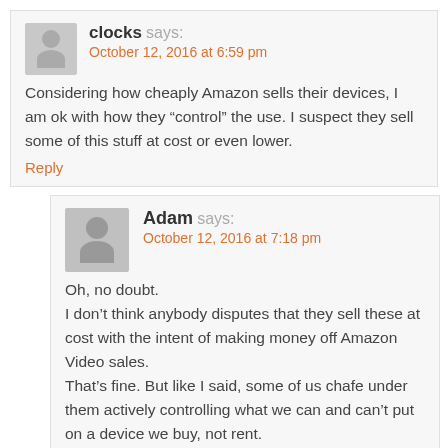clocks says: October 12, 2016 at 6:59 pm
Considering how cheaply Amazon sells their devices, I am ok with how they “control” the use. I suspect they sell some of this stuff at cost or even lower.
Reply
Adam says: October 12, 2016 at 7:18 pm
Oh, no doubt.
I don’t think anybody disputes that they sell these at cost with the intent of making money off Amazon Video sales.
That’s fine. But like I said, some of us chafe under them actively controlling what we can and can’t put on a device we buy, not rent.
I’ve said before I would be more than happy to pay, say, $150 for a Fire TV with an